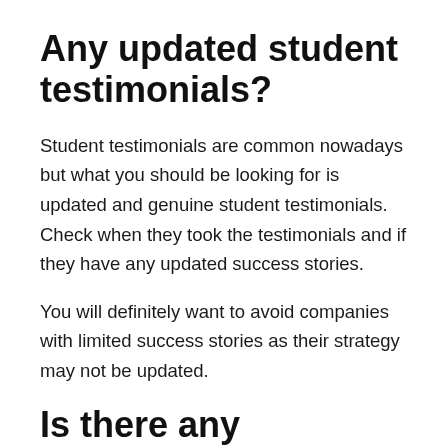Any updated student testimonials?
Student testimonials are common nowadays but what you should be looking for is updated and genuine student testimonials. Check when they took the testimonials and if they have any updated success stories.
You will definitely want to avoid companies with limited success stories as their strategy may not be updated.
Is there any